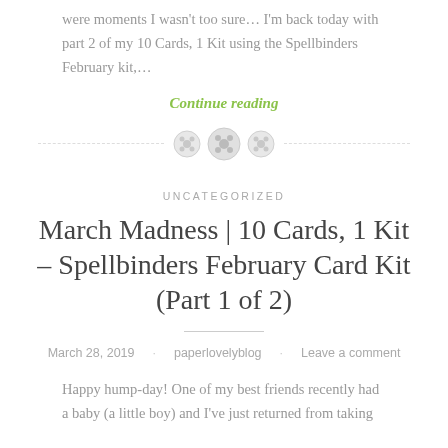were moments I wasn't too sure… I'm back today with part 2 of my 10 Cards, 1 Kit using the Spellbinders February kit,…
Continue reading
[Figure (illustration): Three decorative button icons with a dashed horizontal divider line on each side]
UNCATEGORIZED
March Madness | 10 Cards, 1 Kit – Spellbinders February Card Kit (Part 1 of 2)
March 28, 2019   paperlovelyblog   Leave a comment
Happy hump-day! One of my best friends recently had a baby (a little boy) and I've just returned from taking